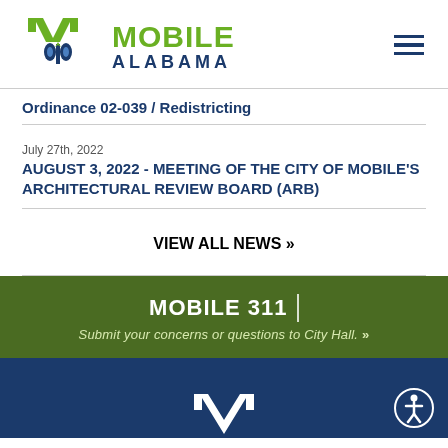[Figure (logo): City of Mobile Alabama logo with green M icon and text]
Ordinance 02-039 / Redistricting
July 27th, 2022
AUGUST 3, 2022 - MEETING OF THE CITY OF MOBILE'S ARCHITECTURAL REVIEW BOARD (ARB)
VIEW ALL NEWS »
MOBILE 311
Submit your concerns or questions to City Hall. »
[Figure (logo): White M logo of City of Mobile in dark blue footer]
[Figure (illustration): Accessibility icon - person in circle]